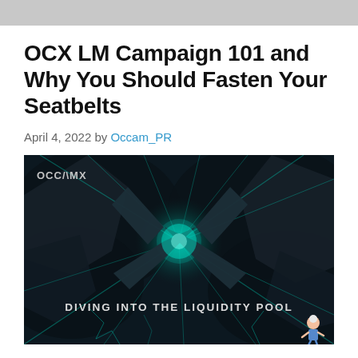OCX LM Campaign 101 and Why You Should Fasten Your Seatbelts
April 4, 2022 by Occam_PR
[Figure (illustration): Dark themed banner image with a glowing teal X shape and text 'DIVING INTO THE LIQUIDITY POOL'. OccamX logo in top-left corner. A small cartoon character in the bottom-right corner.]